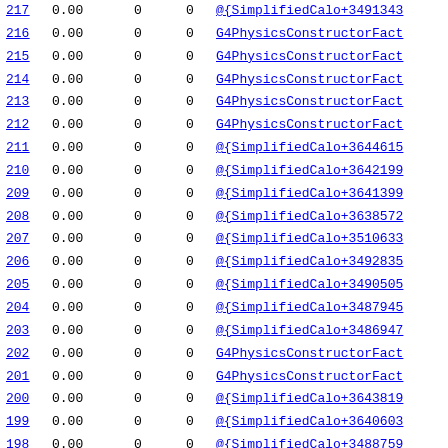| ID | Value | Col3 | Col4 | Reference |
| --- | --- | --- | --- | --- |
| 217 | 0.00 | 0 | 0 | @{SimplifiedCalo+3491343... |
| 216 | 0.00 | 0 | 0 | G4PhysicsConstructorFact... |
| 215 | 0.00 | 0 | 0 | G4PhysicsConstructorFact... |
| 214 | 0.00 | 0 | 0 | G4PhysicsConstructorFact... |
| 213 | 0.00 | 0 | 0 | G4PhysicsConstructorFact... |
| 212 | 0.00 | 0 | 0 | G4PhysicsConstructorFact... |
| 211 | 0.00 | 0 | 0 | @{SimplifiedCalo+3644615... |
| 210 | 0.00 | 0 | 0 | @{SimplifiedCalo+3642199... |
| 209 | 0.00 | 0 | 0 | @{SimplifiedCalo+3641399... |
| 208 | 0.00 | 0 | 0 | @{SimplifiedCalo+3638572... |
| 207 | 0.00 | 0 | 0 | @{SimplifiedCalo+3510633... |
| 206 | 0.00 | 0 | 0 | @{SimplifiedCalo+3492835... |
| 205 | 0.00 | 0 | 0 | @{SimplifiedCalo+3490505... |
| 204 | 0.00 | 0 | 0 | @{SimplifiedCalo+3487945... |
| 203 | 0.00 | 0 | 0 | @{SimplifiedCalo+3486947... |
| 202 | 0.00 | 0 | 0 | G4PhysicsConstructorFact... |
| 201 | 0.00 | 0 | 0 | G4PhysicsConstructorFact... |
| 200 | 0.00 | 0 | 0 | @{SimplifiedCalo+3643819... |
| 199 | 0.00 | 0 | 0 | @{SimplifiedCalo+3640603... |
| 198 | 0.00 | 0 | 0 | @{SimplifiedCalo+3488759... |
| 197 | 0.00 | 0 | 0 | @{SimplifiedCalo+3479645... |